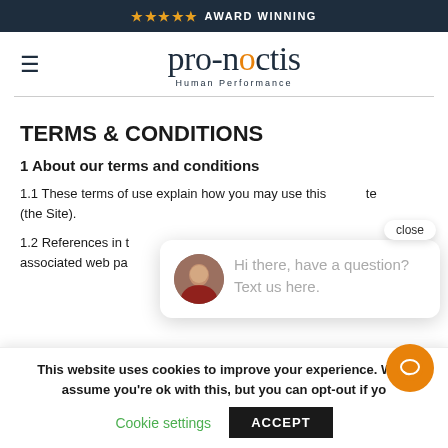★★★★★ AWARD WINNING
[Figure (logo): Pro-noctis Human Performance logo with hamburger menu icon on left]
TERMS & CONDITIONS
1 About our terms and conditions
1.1 These terms of use explain how you may use this website (the Site).
1.2 References in t... associated web pa...
[Figure (screenshot): Chat popup with avatar photo and message: Hi there, have a question? Text us here. With close button.]
This website uses cookies to improve your experience. We'll assume you're ok with this, but you can opt-out if you
Cookie settings    ACCEPT